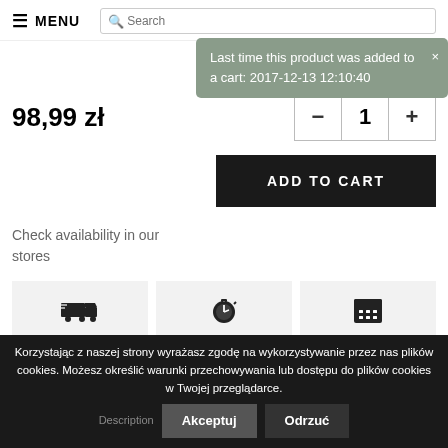≡ MENU | Search
Last time this product was added to a cart: 2017-12-13 12:10:40 ×
98,99 zł
− 1 +
ADD TO CART
Check availability in our stores
DARMOWA WYSYŁKA W POLSCE OD
299,00 ZŁ
BŁYSKAWICZNY ODBIÓR W WARSZAWIE
MOŻESZ ZWRÓCIĆ TOWAR DO
30 DNI
Korzystając z naszej strony wyrażasz zgodę na wykorzystywanie przez nas plików cookies. Możesz określić warunki przechowywania lub dostępu do plików cookies w Twojej przeglądarce.
Akceptuj | Odrzuć
Description